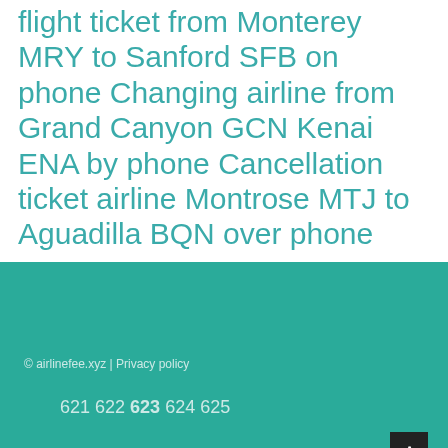flight ticket from Monterey MRY to Sanford SFB on phone Changing airline from Grand Canyon GCN Kenai ENA by phone Cancellation ticket airline Montrose MTJ to Aguadilla BQN over phone
© airlinefee.xyz | Privacy policy
621 622 623 624 625